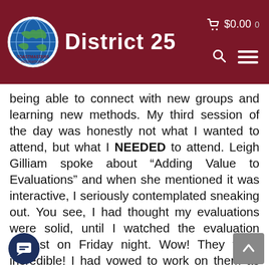Toastmasters International District 25  $0.00 0
being able to connect with new groups and learning new methods. My third session of the day was honestly not what I wanted to attend, but what I NEEDED to attend. Leigh Gilliam spoke about “Adding Value to Evaluations” and when she mentioned it was interactive, I seriously contemplated sneaking out. You see, I had thought my evaluations were solid, until I watched the evaluation contest on Friday night. Wow! They were incredible! I had vowed to work on them as soon as I got home, but it appeared I was going to working on them now…in front of a room of experienced Toastmasters. None of my past conferences were the least bit interactive. Toastmasters, true to their word, is about you Becoming The One …. right now! Leigh walked us through what